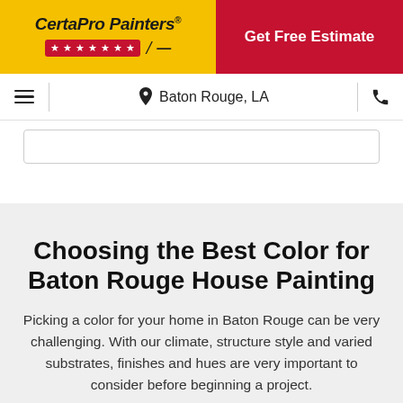[Figure (logo): CertaPro Painters logo on yellow background with red star bar and brush icon]
Get Free Estimate
≡  📍 Baton Rouge, LA  📞
Choosing the Best Color for Baton Rouge House Painting
Picking a color for your home in Baton Rouge can be very challenging. With our climate, structure style and varied substrates, finishes and hues are very important to consider before beginning a project.